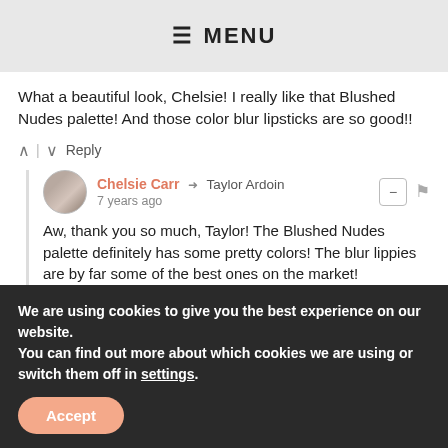MENU
What a beautiful look, Chelsie! I really like that Blushed Nudes palette! And those color blur lipsticks are so good!!
↑ | ↓  Reply
Chelsie Carr → Taylor Ardoin  7 years ago
Aw, thank you so much, Taylor! The Blushed Nudes palette definitely has some pretty colors! The blur lippies are by far some of the best ones on the market!
We are using cookies to give you the best experience on our website.
You can find out more about which cookies we are using or switch them off in settings.
Accept